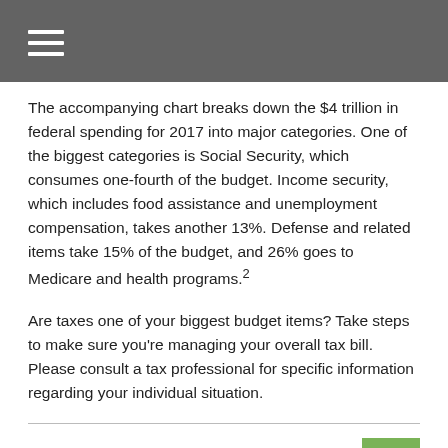The accompanying chart breaks down the $4 trillion in federal spending for 2017 into major categories. One of the biggest categories is Social Security, which consumes one-fourth of the budget. Income security, which includes food assistance and unemployment compensation, takes another 13%. Defense and related items take 15% of the budget, and 26% goes to Medicare and health programs.²
Are taxes one of your biggest budget items? Take steps to make sure you're managing your overall tax bill. Please consult a tax professional for specific information regarding your individual situation.
Pieces of the Federal Pie
More than 60% of 2017 federal spending was used for